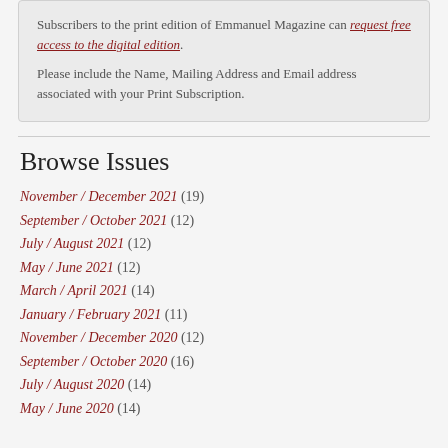Subscribers to the print edition of Emmanuel Magazine can request free access to the digital edition. Please include the Name, Mailing Address and Email address associated with your Print Subscription.
Browse Issues
November / December 2021 (19)
September / October 2021 (12)
July / August 2021 (12)
May / June 2021 (12)
March / April 2021 (14)
January / February 2021 (11)
November / December 2020 (12)
September / October 2020 (16)
July / August 2020 (14)
May / June 2020 (14)